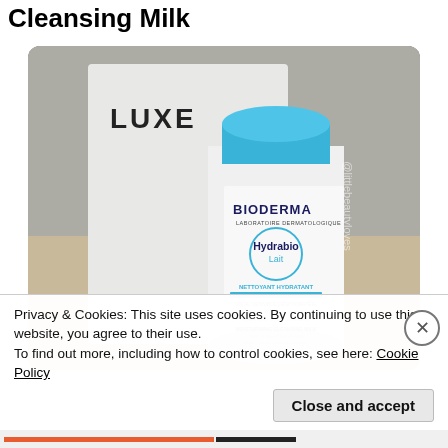Cleansing Milk
[Figure (photo): Photo of Bioderma Hydrabio Lait (Moisturising Cleansing Milk) 250ml bottle with blue cap, standing in front of a white Luxe box, watermarked with @littlebeautyloves]
Privacy & Cookies: This site uses cookies. By continuing to use this website, you agree to their use.
To find out more, including how to control cookies, see here: Cookie Policy
Close and accept